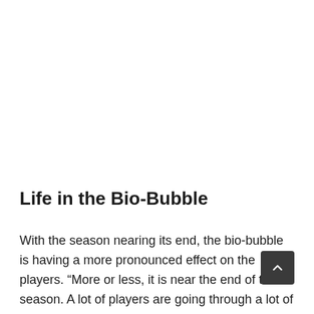Life in the Bio-Bubble
With the season nearing its end, the bio-bubble is having a more pronounced effect on the players. “More or less, it is near the end of the season. A lot of players are going through a lot of emotions. The anxiousness and the stress. I think today’s game allows the players to relax for two days and then to prepare for December 15…